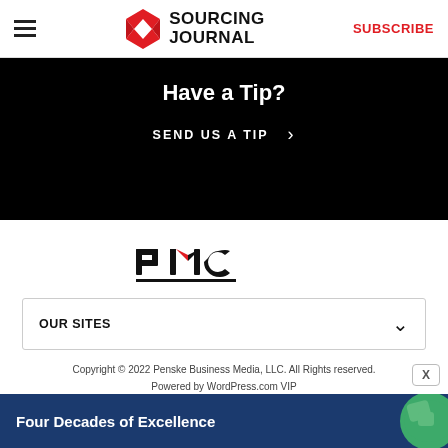Sourcing Journal — SUBSCRIBE
[Figure (illustration): Sourcing Journal logo with red geometric S icon and bold black text 'SOURCING JOURNAL']
Have a Tip?
SEND US A TIP >
[Figure (logo): PMC (Penske Media Corporation) logo in black with red accent on the M]
OUR SITES
Copyright © 2022 Penske Business Media, LLC. All Rights reserved. Powered by WordPress.com VIP
[Figure (illustration): Blue advertisement banner reading 'Four Decades of Excellence' with globe graphic]